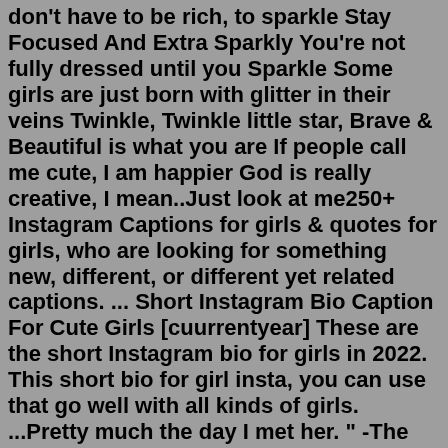don't have to be rich, to sparkle Stay Focused And Extra Sparkly You're not fully dressed until you Sparkle Some girls are just born with glitter in their veins Twinkle, Twinkle little star, Brave & Beautiful is what you are If people call me cute, I am happier God is really creative, I mean..Just look at me250+ Instagram Captions for girls & quotes for girls, who are looking for something new, different, or different yet related captions. ... Short Instagram Bio Caption For Cute Girls [cuurrentyear] These are the short Instagram bio for girls in 2022. This short bio for girl insta, you can use that go well with all kinds of girls. ...Pretty much the day I met her. " -The Office. " I can bear the distance but cannot imagine a life without you. For you, I will go through the distance and the heartaches. You are my one and only. " — Montana Lee. " It was love at first sight, at last sight, at ever and ever sight. " -Vladimir Nabokov (Lolita) " You. You're ...Love It 6. Funny Girl Meme Is Google A Boy Or Girl Image. Funny Girl Meme My Reaction When My Husband Asks Where All The Money Went